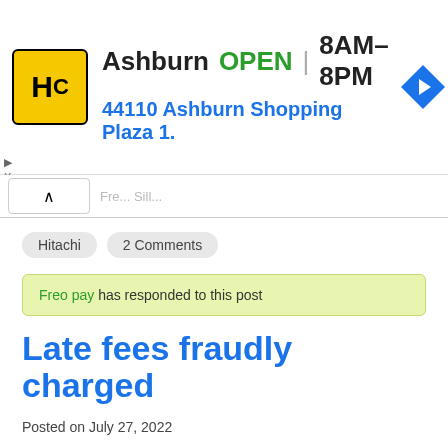[Figure (advertisement): Haircut place ad banner: HC logo in yellow, Ashburn OPEN 8AM-8PM, 44110 Ashburn Shopping Plaza 1., with a blue navigation diamond icon]
Hitachi  2 Comments
Freo pay has responded to this post
Late fees fraudly charged
Posted on July 27, 2022
| Name of Complainant | Harsh shah |
| Date of Complaint | July 27, 2022 |